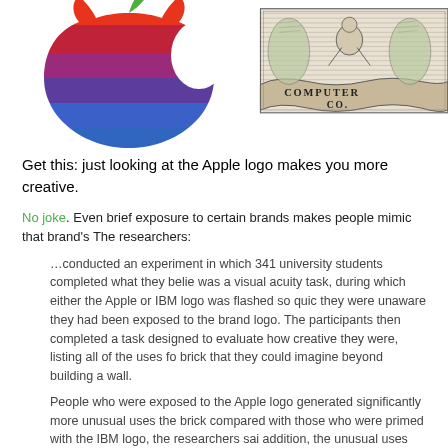[Figure (logo): Apple rainbow striped logo (red, purple, blue stripes) on white background, cropped top]
[Figure (illustration): Engraved vintage illustration showing 'COMPUTER CO.' text with ornate engraving style imagery, partially cropped]
Get this: just looking at the Apple logo makes you more creative.
No joke. Even brief exposure to certain brands makes people mimic that brand's The researchers:
…conducted an experiment in which 341 university students completed what they believed was a visual acuity task, during which either the Apple or IBM logo was flashed so quickly they were unaware they had been exposed to the brand logo. The participants then completed a task designed to evaluate how creative they were, listing all of the uses for a brick that they could imagine beyond building a wall.
People who were exposed to the Apple logo generated significantly more unusual uses for the brick compared with those who were primed with the IBM logo, the researchers said. In addition, the unusual uses the Apple-primed participants generated were rated as more creative by independent judges.
Imagine that. But does this mean staring at the Microsoft logo makes me greedy, monopolistic, and prone to screaming fits?